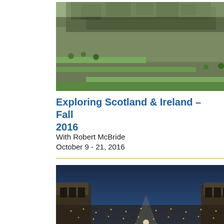[Figure (photo): Aerial or elevated view of a rocky hillside with ancient fortifications, Edinburgh Castle area, Scotland, green terraced landscape]
Exploring Scotland & Ireland – Fall 2016
With Robert McBride
October 9 - 21, 2016
[Figure (photo): Large outdoor Roman amphitheater (Arena di Verona) at dusk, packed with audience, performer in white on stage with arms raised, blue evening sky]
La Musica Paradiso! – Italy, Summer 2016